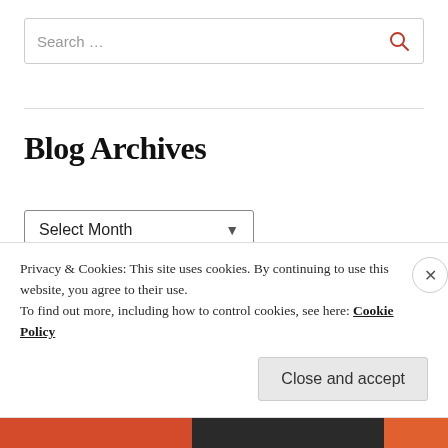Search ...
Blog Archives
Select Month
Follow
Privacy & Cookies: This site uses cookies. By continuing to use this website, you agree to their use.
To find out more, including how to control cookies, see here: Cookie Policy
Close and accept